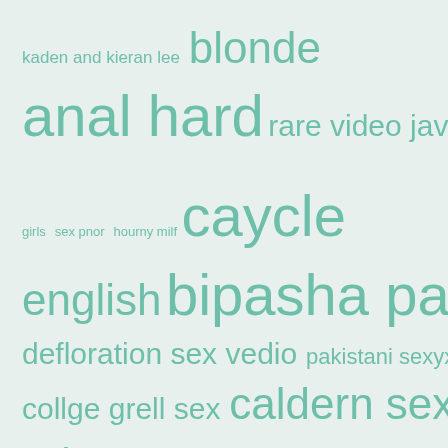[Figure (infographic): Word cloud with various search terms displayed in different font sizes in teal/mint color on a light grayish-green background.]